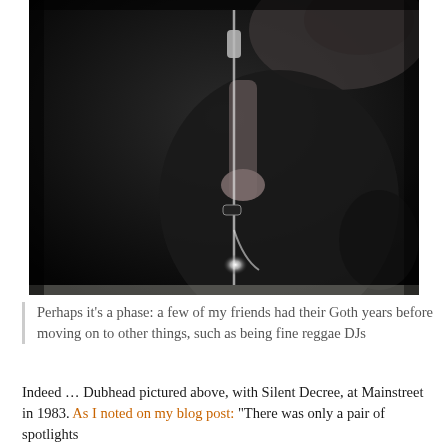[Figure (photo): Black and white photograph of a person holding a microphone stand, performing on stage. The image is dark and dramatic, showing arms and hands gripping a mic stand with a bright light/spotlight visible in the lower portion.]
Perhaps it's a phase: a few of my friends had their Goth years before moving on to other things, such as being fine reggae DJs
Indeed … Dubhead pictured above, with Silent Decree, at Mainstreet in 1983. As I noted on my blog post: "There was only a pair of spotlights